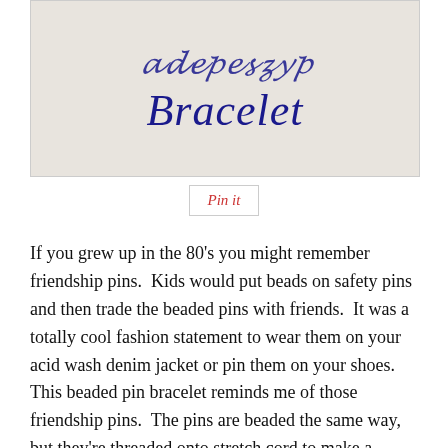[Figure (photo): Image showing cursive handwritten-style title text 'Bracelet' in dark blue/navy on a light beige background, with partial text above it]
[Figure (screenshot): Pinterest 'Pin it' button with red italic text inside a bordered rectangle]
If you grew up in the 80's you might remember friendship pins.  Kids would put beads on safety pins and then trade the beaded pins with friends.  It was a totally cool fashion statement to wear them on your acid wash denim jacket or pin them on your shoes.  This beaded pin bracelet reminds me of those friendship pins.  The pins are beaded the same way, but they're threaded onto stretch cord to make a bracelet.  I'm sure kids today would have fun making these, but would you wear something like this as an adult?  I never wear